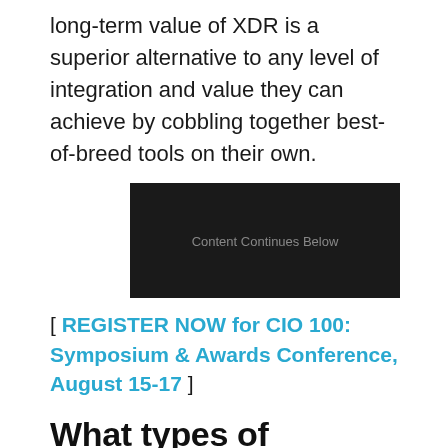long-term value of XDR is a superior alternative to any level of integration and value they can achieve by cobbling together best-of-breed tools on their own.
[Figure (other): Dark advertisement placeholder box with text 'Content Continues Below']
[ REGISTER NOW for CIO 100: Symposium & Awards Conference, August 15-17 ]
What types of organizations are best suited for XDR?
The most obvious sectors include mid-market companies and small enterprises that don't have